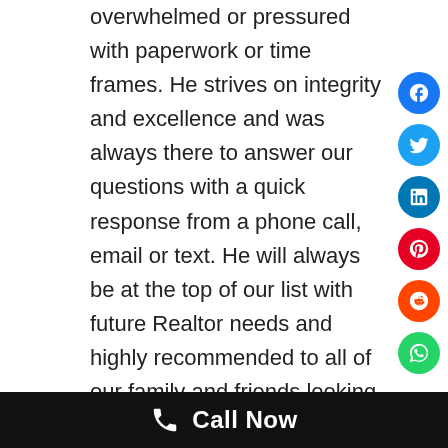overwhelmed or pressured with paperwork or time frames. He strives on integrity and excellence and was always there to answer our questions with a quick response from a phone call, email or text. He will always be at the top of our list with future Realtor needs and highly recommended to all of our family and friends looking to relocate, and looking for someone Honest and Trustworthy to help them with the process."
Debbie D.
Seller
Call Now